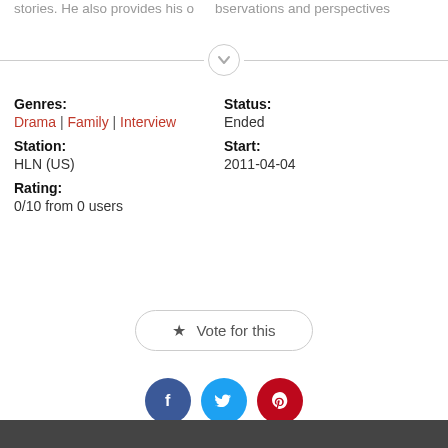stories. He also provides his own observations and perspectives
Genres: Drama | Family | Interview  Status: Ended  Station: HLN (US)  Start: 2011-04-04  Rating: 0/10 from 0 users
★ Vote for this
[Figure (other): Social sharing buttons: Facebook, Twitter, Pinterest]